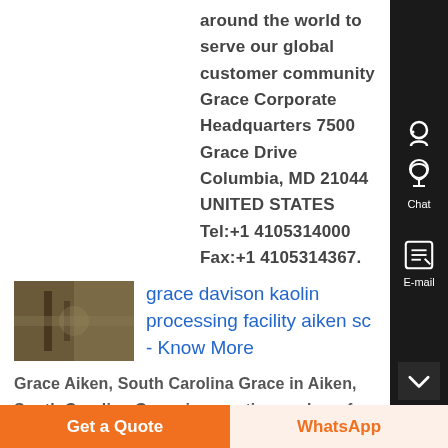around the world to serve our global customer community Grace Corporate Headquarters 7500 Grace Drive Columbia, MD 21044 UNITED STATES Tel:+1 4105314000 Fax:+1 4105314367.
[Figure (photo): Small thumbnail image showing machinery or industrial equipment in brown/dark tones]
grace davison kaolin processing facility aiken sc - Know More
Grace Aiken, South Carolina Grace in Aiken, South Carolina Grace is an active member of the communities in which we are located With a goal to improve the community, we contribute to local economies through sustainable action
Get a Quote
WhatsApp